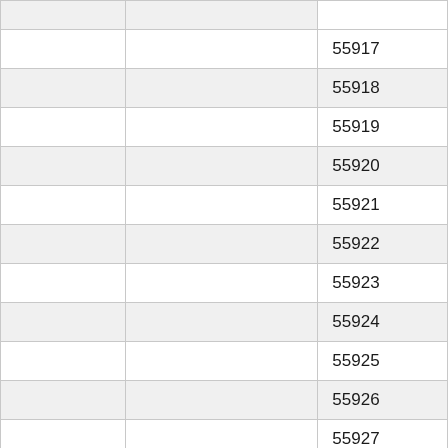|  |  | 55912 |
|  |  | 55917 |
|  |  | 55918 |
|  |  | 55919 |
|  |  | 55920 |
|  |  | 55921 |
|  |  | 55922 |
|  |  | 55923 |
|  |  | 55924 |
|  |  | 55925 |
|  |  | 55926 |
|  |  | 55927 |
|  |  | 55928 |